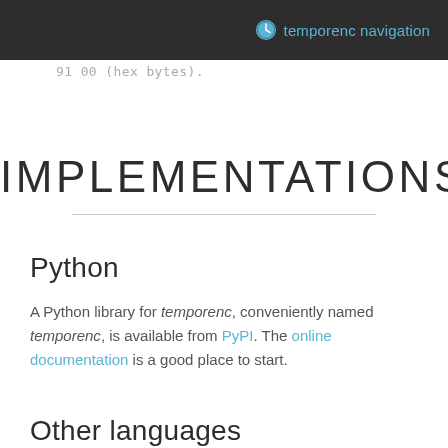temporenc navigation
91 00 (hex bytes).
IMPLEMENTATIONS
Python
A Python library for temporenc, conveniently named temporenc, is available from PyPI. The online documentation is a good place to start.
Other languages